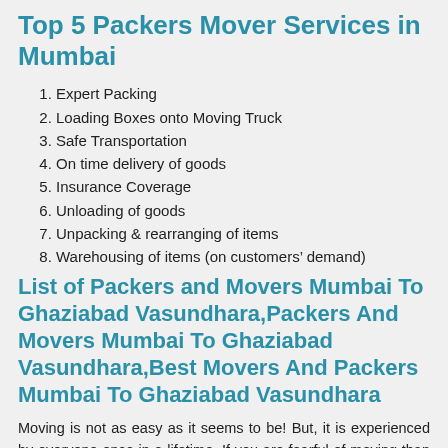Top 5 Packers Mover Services in Mumbai
Expert Packing
Loading Boxes onto Moving Truck
Safe Transportation
On time delivery of goods
Insurance Coverage
Unloading of goods
Unpacking & rearranging of items
Warehousing of items (on customers’ demand)
List of Packers and Movers Mumbai To Ghaziabad Vasundhara,Packers And Movers Mumbai To Ghaziabad Vasundhara,Best Movers And Packers Mumbai To Ghaziabad Vasundhara
Moving is not as easy as it seems to be! But, it is experienced by everyone once in a lifetime. If you are fearful of moving than we can help and assist you with every step of relocating.Let’s start with